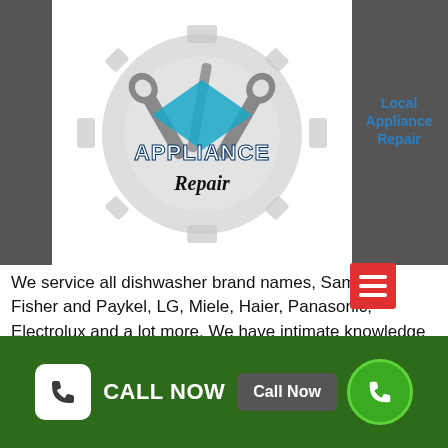[Figure (logo): Appliance Repair logo: two wrenches crossed over a gear, with text 'APPLIANCE Repair' in stylized blue lettering]
Local Appliance Repair
…ons In Ormond
We service all dishwasher brand names, Samsung, Fisher and Paykel, LG, Miele, Haier, Panasonic, Electrolux and a lot more. We have intimate knowledge of dishwasher problems, so you can count on us to look after your dishwasher repairs.
Our team of knowledgeable, expert and local engineers are on hand to repair any problem. They can come out the next day or even the very same day if required, and what's
CALL NOW  Call Now